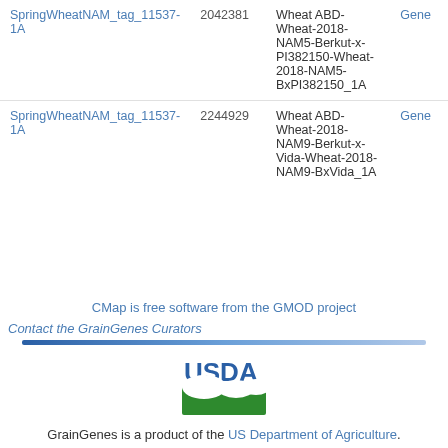| Feature | ID | Map | Type |
| --- | --- | --- | --- |
| SpringWheatNAM_tag_11537-1A | 2042381 | Wheat ABD-Wheat-2018-NAM5-Berkut-x-PI382150-Wheat-2018-NAM5-BxPI382150_1A | Gene |
| SpringWheatNAM_tag_11537-1A | 2244929 | Wheat ABD-Wheat-2018-NAM9-Berkut-x-Vida-Wheat-2018-NAM9-BxVida_1A | Gene |
CMap is free software from the GMOD project
Contact the GrainGenes Curators
[Figure (logo): USDA logo with green landscape graphic]
GrainGenes is a product of the US Department of Agriculture.